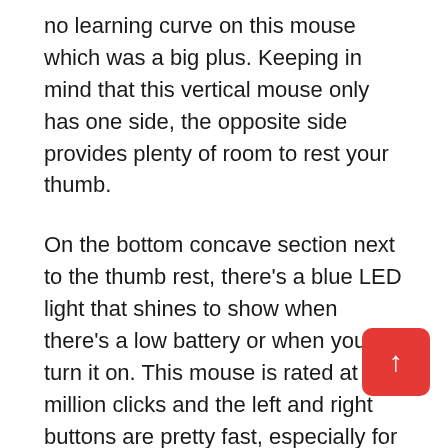no learning curve on this mouse which was a big plus. Keeping in mind that this vertical mouse only has one side, the opposite side provides plenty of room to rest your thumb.
On the bottom concave section next to the thumb rest, there's a blue LED light that shines to show when there's a low battery or when you turn it on. This mouse is rated at 1 million clicks and the left and right buttons are pretty fast, especially for a Productivity mouse. Do keep in mind that this is not a gaming mouse but for a Productivity mouse, the buttons do pop up back pretty quickly. I found the top buttons pretty easy to click with a very little accidental click as well and I really think its vertical design helps reduce his accidental clicking
In terms of its scroll wheel when scrolling slowly, the